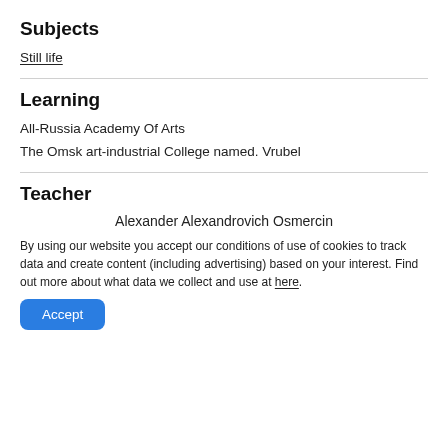Subjects
Still life
Learning
All-Russia Academy Of Arts
The Omsk art-industrial College named. Vrubel
Teacher
Alexander Alexandrovich Osmercin
By using our website you accept our conditions of use of cookies to track data and create content (including advertising) based on your interest. Find out more about what data we collect and use at here.
Accept